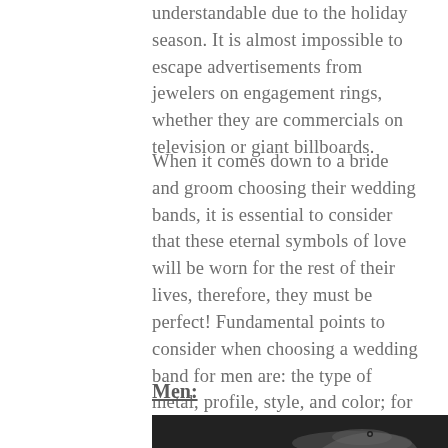understandable due to the holiday season. It is almost impossible to escape advertisements from jewelers on engagement rings, whether they are commercials on television or giant billboards.
When it comes down to a bride and groom choosing their wedding bands, it is essential to consider that these eternal symbols of love will be worn for the rest of their lives, therefore, they must be perfect! Fundamental points to consider when choosing a wedding band for men are: the type of metal, profile, style, and color; for women: the type of head, shank, shape of diamond, color of diamond, clarity of diamond, and carat. Accent stones and embellishments can be considered as well, but are optional.
Men:
[Figure (photo): A dark photograph showing a person's hand with a ring, against a dark suit/clothing background.]